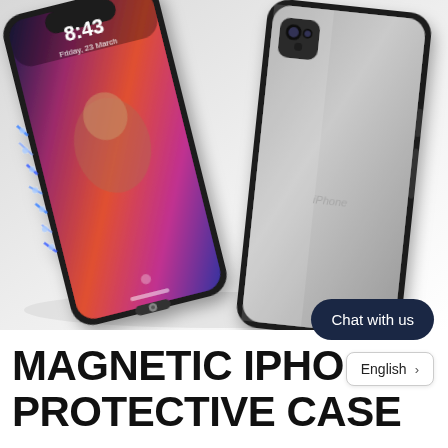[Figure (photo): Product photo showing two iPhone magnetic protective cases. Left phone shows front face with colorful gradient screen (time 8:43, Friday 23 March) and glowing blue magnetic connectors along the side. Right phone shows the back of the case with transparent glass back panel and iPhone logo. Both phones have a black metal frame. Magnetic attraction effect shown with blue lightning bolt lines.]
MAGNETIC IPHONE PROTECTIVE CASE
Chat with us
English  >